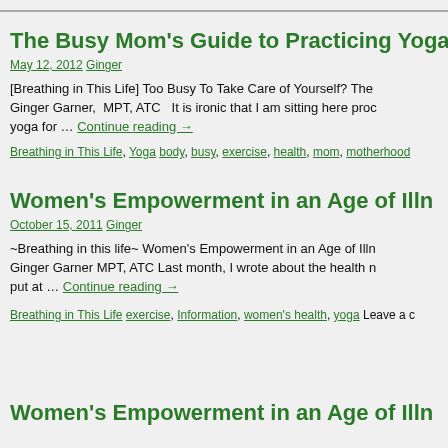navigation bar (cropped)
The Busy Mom's Guide to Practicing Yoga
May 12, 2012 Ginger
[Breathing in This Life] Too Busy To Take Care of Yourself? The Ginger Garner, MPT, ATC  It is ironic that I am sitting here proc yoga for … Continue reading →
Breathing in This Life, Yoga body, busy, exercise, health, mom, motherhood
Women's Empowerment in an Age of Illn
October 15, 2011 Ginger
~Breathing in this life~ Women's Empowerment in an Age of Illn Ginger Garner MPT, ATC Last month, I wrote about the health r put at … Continue reading →
Breathing in This Life exercise, Information, women's health, yoga Leave a c
Women's Empowerment in an Age of Illn